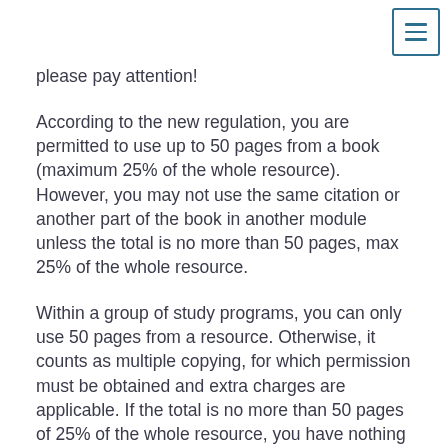please pay attention!
According to the new regulation, you are permitted to use up to 50 pages from a book (maximum 25% of the whole resource). However, you may not use the same citation or another part of the book in another module unless the total is no more than 50 pages, max 25% of the whole resource.
Within a group of study programs, you can only use 50 pages from a resource. Otherwise, it counts as multiple copying, for which permission must be obtained and extra charges are applicable. If the total is no more than 50 pages of 25% of the whole resource, you have nothing to worry about.
If you would like to make use of more than 50 pages